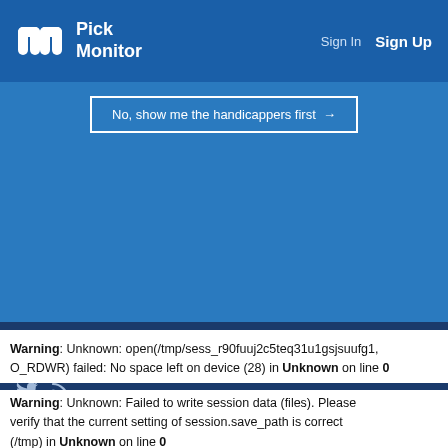Pick Monitor — Sign In  Sign Up
No, show me the handicappers first →
Copyright © 2022 PREDICTSPORTS INC. All Rights Reserved. See our Terms of Service and Privacy Policy.
Warning: Unknown: open(/tmp/sess_r90fuuj2c5teq31u1gsjsuufg1, O_RDWR) failed: No space left on device (28) in Unknown on line 0
Warning: Unknown: Failed to write session data (files). Please verify that the current setting of session.save_path is correct (/tmp) in Unknown on line 0